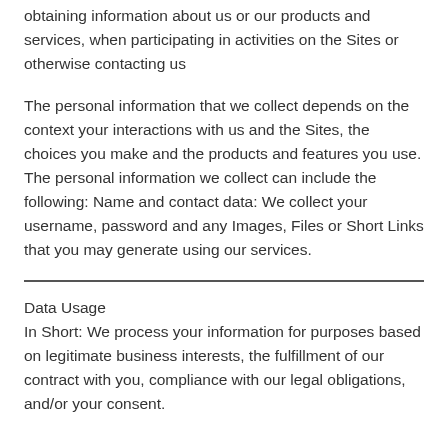obtaining information about us or our products and services, when participating in activities on the Sites or otherwise contacting us
The personal information that we collect depends on the context your interactions with us and the Sites, the choices you make and the products and features you use. The personal information we collect can include the following: Name and contact data: We collect your username, password and any Images, Files or Short Links that you may generate using our services.
Data Usage
In Short: We process your information for purposes based on legitimate business interests, the fulfillment of our contract with you, compliance with our legal obligations, and/or your consent.